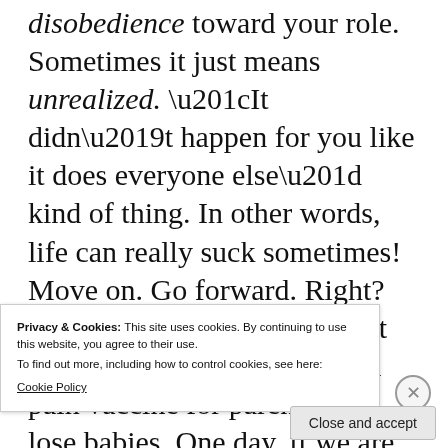disobedience toward your role. Sometimes it just means unrealized. “It didn’t happen for you like it does everyone else” kind of thing. In other words, life can really suck sometimes! Move on. Go forward. Right? No, it doesn’t work that way. They don’t have a pain vaccine for parents who lose babies. One day, if we are in Christ, every tear will be wiped from our eyes. But now, pain hurts. A lot.
Privacy & Cookies: This site uses cookies. By continuing to use this website, you agree to their use.
To find out more, including how to control cookies, see here:
Cookie Policy
Close and accept